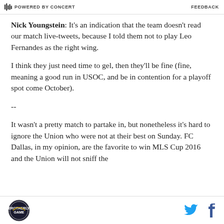POWERED BY CONCERT   FEEDBACK
Nick Youngstein: It's an indication that the team doesn't read our match live-tweets, because I told them not to play Leo Fernandes as the right wing.
I think they just need time to gel, then they'll be fine (fine, meaning a good run in USOC, and be in contention for a playoff spot come October).
--
It wasn't a pretty match to partake in, but nonetheless it's hard to ignore the Union who were not at their best on Sunday. FC Dallas, in my opinion, are the favorite to win MLS Cup 2016 and the Union will not sniff the